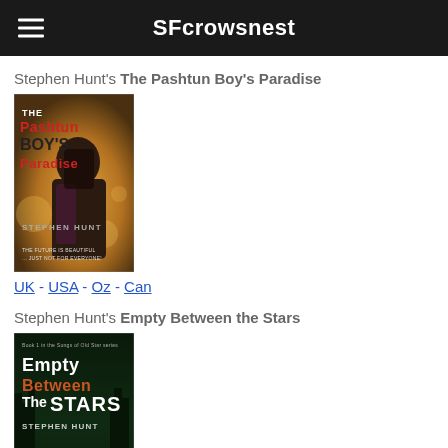SFcrowsnest
Stephen Hunt's The Pashtun Boy's Paradise
[Figure (illustration): Book cover of The Pashtun Boy's Paradise by Stephen Hunt. Shows a veiled figure against a warm bokeh background. Red and dark title text at top, author name in grey, tagline: THE FUTURE IS BEAUTIFUL... JUST NOT FOR EVERYONE!]
UK - USA - Oz - Can
Stephen Hunt's Empty Between the Stars
[Figure (illustration): Book cover of Empty Between the Stars by Stephen Hunt. Dark forest background with two small figures (one appears robotic). White and orange title text. Tagline at bottom.]
UK - USA - Oz - Can